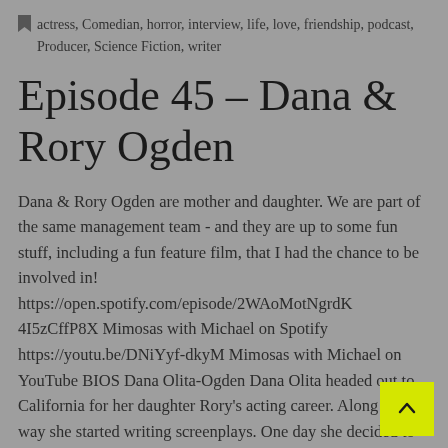actress, Comedian, horror, interview, life, love, friendship, podcast, Producer, Science Fiction, writer
Episode 45 – Dana & Rory Ogden
Dana & Rory Ogden are mother and daughter. We are part of the same management team - and they are up to some fun stuff, including a fun feature film, that I had the chance to be involved in! https://open.spotify.com/episode/2WAoMotNgrdK4I5zCffP8X Mimosas with Michael on Spotify https://youtu.be/DNiYyf-dkyM Mimosas with Michael on YouTube BIOS Dana Olita-Ogden Dana Olita headed out to California for her daughter Rory's acting career. Along the way she started writing screenplays. One day she decided to do an open mic to see if people thought her Mob